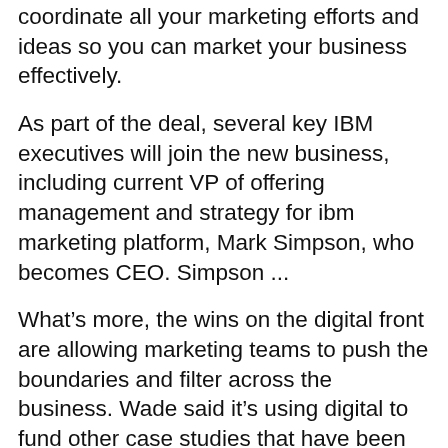coordinate all your marketing efforts and ideas so you can market your business effectively.
As part of the deal, several key IBM executives will join the new business, including current VP of offering management and strategy for ibm marketing platform, Mark Simpson, who becomes CEO. Simpson ...
What’s more, the wins on the digital front are allowing marketing teams to push the boundaries and filter across the business. Wade said it’s using digital to fund other case studies that have been ...
The new always on, always connected, digital and social world provides amazing opportunities for smart digital brand marketers and business leaders